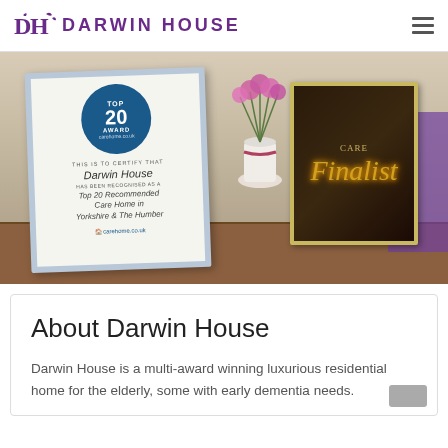Darwin House
[Figure (photo): Photo of Darwin House care home awards display: a framed carehome.co.uk Top 20 Award certificate for Yorkshire & The Humber, a vase of pink flowers, and a 'Finalist' award frame on a wooden table.]
About Darwin House
Darwin House is a multi-award winning luxurious residential home for the elderly, some with early dementia needs.